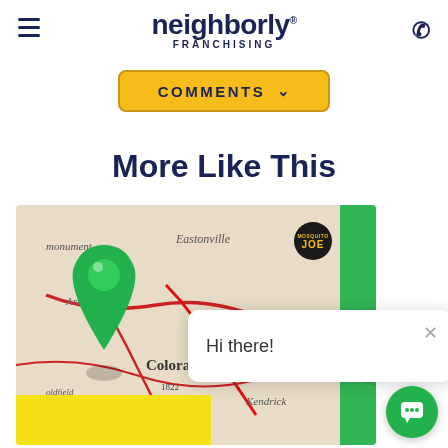neighborly FRANCHISING
COMMENTS
More Like This
[Figure (photo): A map with a green pushpin stuck in it showing Colorado Springs area, with a Mosquito Joe badge overlay and a chat popup saying Hi there!]